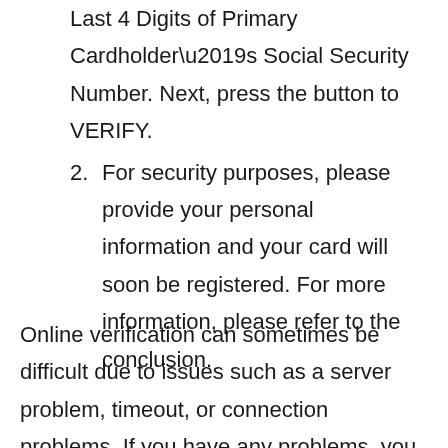Last 4 Digits of Primary Cardholder’s Social Security Number. Next, press the button to VERIFY.
For security purposes, please provide your personal information and your card will soon be registered. For more information, please refer to the conclusion.
Online verification can sometimes be difficult due to issues such as a server problem, timeout, or connection problems. If you have any problems, you can activate the card by